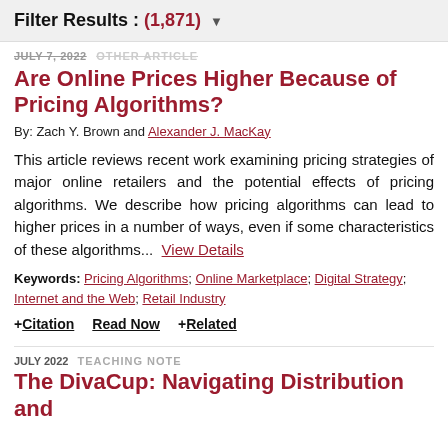Filter Results : (1,871)
JULY 7, 2022   OTHER ARTICLE
Are Online Prices Higher Because of Pricing Algorithms?
By: Zach Y. Brown and Alexander J. MacKay
This article reviews recent work examining pricing strategies of major online retailers and the potential effects of pricing algorithms. We describe how pricing algorithms can lead to higher prices in a number of ways, even if some characteristics of these algorithms...  View Details
Keywords: Pricing Algorithms; Online Marketplace; Digital Strategy; Internet and the Web; Retail Industry
+ Citation   Read Now   + Related
JULY 2022   TEACHING NOTE
The DivaCup: Navigating Distribution and